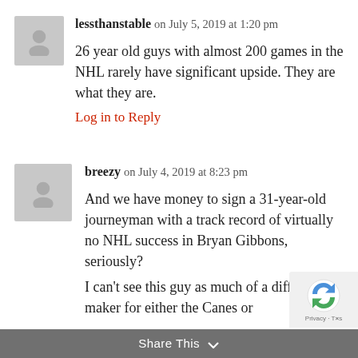lessthanstable on July 5, 2019 at 1:20 pm
26 year old guys with almost 200 games in the NHL rarely have significant upside. They are what they are.
Log in to Reply
breezy on July 4, 2019 at 8:23 pm
And we have money to sign a 31-year-old journeyman with a track record of virtually no NHL success in Bryan Gibbons, seriously?
I can't see this guy as much of a difference maker for either the Canes or
Share This